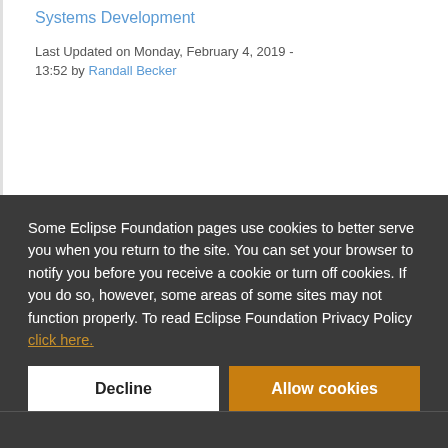Systems Development
Last Updated on Monday, February 4, 2019 - 13:52 by Randall Becker
Some Eclipse Foundation pages use cookies to better serve you when you return to the site. You can set your browser to notify you before you receive a cookie or turn off cookies. If you do so, however, some areas of some sites may not function properly. To read Eclipse Foundation Privacy Policy click here.